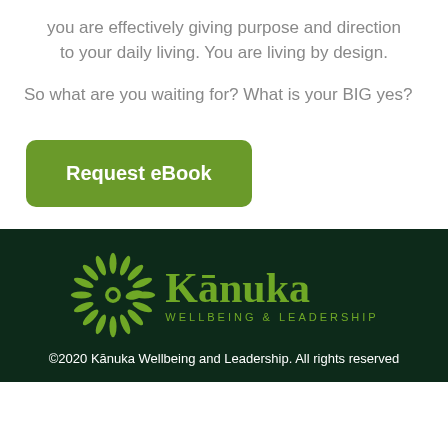you are effectively giving purpose and direction to your daily living. You are living by design.
So what are you waiting for? What is your BIG yes?
[Figure (other): Green rounded rectangle button with white bold text 'Request eBook']
[Figure (logo): Kanuka Wellbeing & Leadership logo: green sunflower/starburst icon next to the text 'Kanuka' in serif font with 'WELLBEING & LEADERSHIP' subtitle, all in green on dark background]
©2020 Kānuka Wellbeing and Leadership. All rights reserved